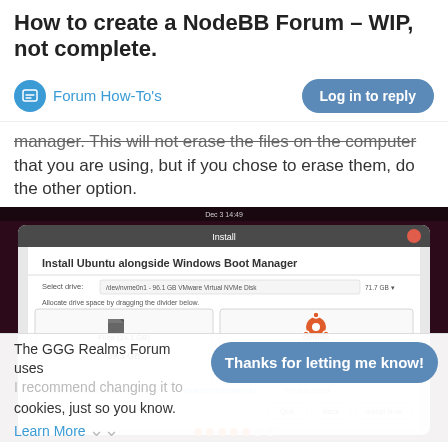How to create a NodeBB Forum – WIP, not complete.
Forum How-To's
Log in to reply
manager. This will not erase the files on the computer that you are using, but if you chose to erase them, do the other option.
[Figure (screenshot): Ubuntu installer screenshot showing 'Install Ubuntu alongside Windows Boot Manager' dialog with drive partition options: Files (24.1 GB) at 39.3 GB and Ubuntu at 56.2 GB]
The GGG Realms Forum uses cookies, just so you know. Learn More
Thanks for letting me know!